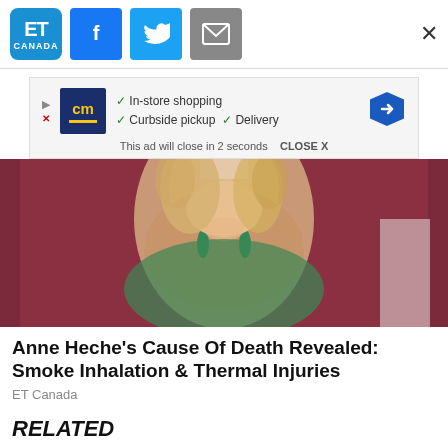ET Canada | Facebook | Twitter | Email | Close
[Figure (screenshot): Advertisement banner for cm with text: In-store shopping, Curbside pickup, Delivery. This ad will close in 2 seconds. CLOSE X]
[Figure (photo): Photo of a blonde woman wearing green earrings and a green dress on a dark red background]
Anne Heche's Cause Of Death Revealed: Smoke Inhalation & Thermal Injuries
ET Canada
RELATED
[Figure (photo): Partial thumbnail image showing text 'GIRL' and a person wearing a red hat]